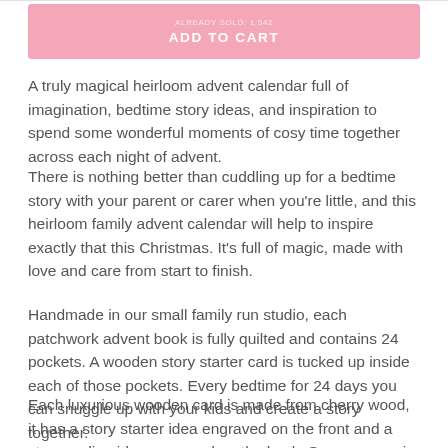[Figure (other): Pink 'ADD TO CART' button at the top of the page]
A truly magical heirloom advent calendar full of imagination, bedtime story ideas, and inspiration to spend some wonderful moments of cosy time together across each night of advent.
There is nothing better than cuddling up for a bedtime story with your parent or carer when you're little, and this heirloom family advent calendar will help to inspire exactly that this Christmas. It's full of magic, made with love and care from start to finish.
Handmade in our small family run studio, each patchwork advent book is fully quilted and contains 24 pockets. A wooden story starter card is tucked up inside each of those pockets. Every bedtime for 24 days you can snuggle up with your kids and create a story together.
Each luxurious wooden card is made from cherry wood, it has a story starter idea engraved on the front and a story ending idea engraved on the back. So you can mix and match them, make up endless story middles, and let your imaginations run wild!